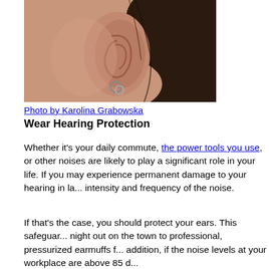[Figure (photo): Close-up photograph of a person's ear with a small silver hoop earring, showing skin and dark hair.]
Photo by Karolina Grabowska
Wear Hearing Protection
Whether it's your daily commute, the power tools you use, or other noises are likely to play a significant role in your life. If you may experience permanent damage to your hearing in la... intensity and frequency of the noise.
If that's the case, you should protect your ears. This safeguar... night out on the town to professional, pressurized earmuffs f... addition, if the noise levels at your workplace are above 85 d...